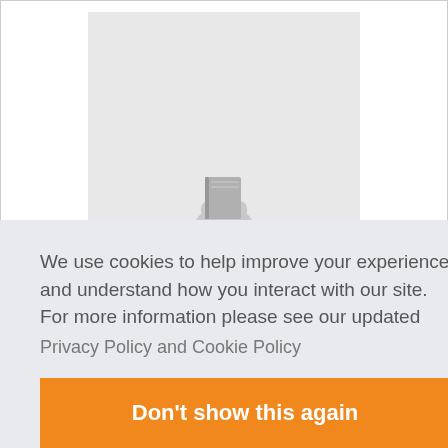[Figure (illustration): Gray placeholder book cover image with a stylized book and plant/flower icon in light gray tones]
We use cookies to help improve your experience and understand how you interact with our site. For more information please see our updated
Privacy Policy and Cookie Policy
Don't show this again
Today's Bargain Price: $2.99